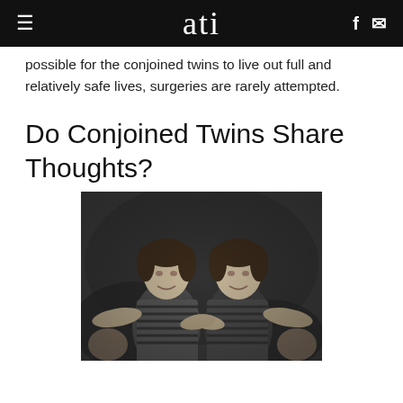ati
...only expects one twin to survive. If it is possible for the conjoined twins to live out full and relatively safe lives, surgeries are rarely attempted.
Do Conjoined Twins Share Thoughts?
[Figure (photo): Black and white photograph of conjoined twins, two young women in striped dresses posing together against a dark background]